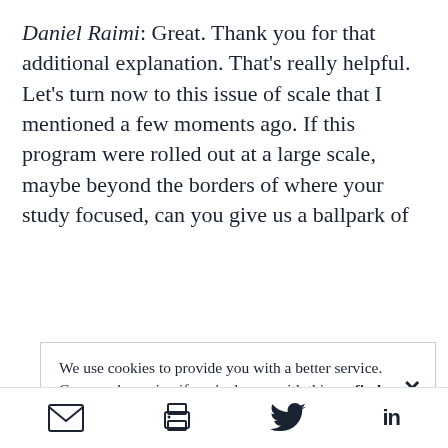Daniel Raimi: Great. Thank you for that additional explanation. That's really helpful. Let's turn now to this issue of scale that I mentioned a few moments ago. If this program were rolled out at a large scale, maybe beyond the borders of where your study focused, can you give us a ballpark of
We use cookies to provide you with a better service. Carry on browsing if you're happy with this, or find out more.
[email icon] [print icon] [twitter icon] [linkedin icon]